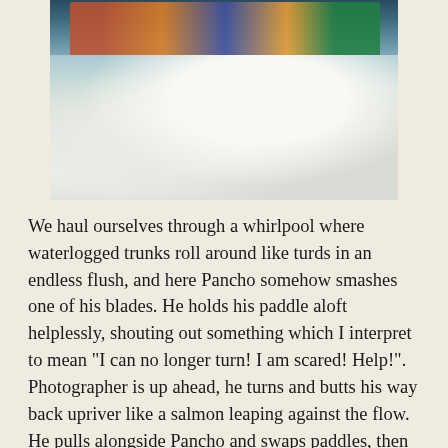[Figure (photo): Action photo of people white-water rafting through powerful rapids, with large waves of whitewater spray surrounding the raft. Paddlers in helmets and life jackets visible at the top.]
We haul ourselves through a whirlpool where waterlogged trunks roll around like turds in an endless flush, and here Pancho somehow smashes one of his blades. He holds his paddle aloft helplessly, shouting out something which I interpret to mean "I can no longer turn! I am scared! Help!". Photographer is up ahead, he turns and butts his way back upriver like a salmon leaping against the flow. He pulls alongside Pancho and swaps paddles, then skims off again with bravado. Having only half a paddle doesn't seem to diminish his abilities, he changes his grip and uses it Indian style, holding the good blade down and